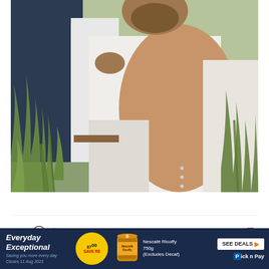[Figure (photo): Wedding photo showing a couple in an outdoor field setting. The bride's back is visible wearing a backless white dress with buttons down the spine. The groom in a dark suit and white shirt is behind her, kissing her neck/shoulder. Green grass blades are visible in the foreground and background.]
View more on Instagram
[Figure (other): Instagram action icons: heart (like), speech bubble (comment), share arrow (export). Bookmark icon on the right side.]
[Figure (other): Pick n Pay advertisement banner with dark navy background. Left side: 'Everyday Exceptional' text with small tagline. Center: yellow circle with '87.00 SAVE R8' price badge. Nescafé Ricoffy product can image. Text: 'Nescafé Ricoffy 750g (Excludes Decaf)'. Right side: 'SEE DEALS' button and Pick n Pay logo.]